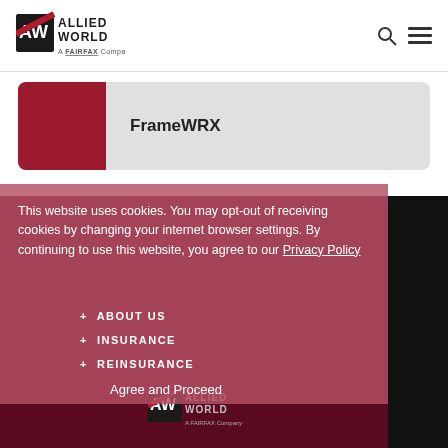Allied World – A Fairfax Company
FrameWRX
This website uses cookies. You may opt-out of receiving cookies by changing your internet browser settings. By continuing to use this website, you agree to our Privacy Policy
+ ABOUT US
+ INSURANCE
+ REINSURANCE
Agree and Proceed
[Figure (logo): Allied World – A Fairfax Company logo at bottom]